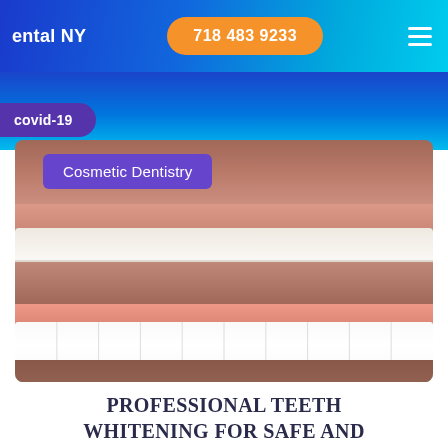ental NY   718 483 9233
covid-19
[Figure (photo): Before and after teeth whitening dental photos: top panel shows upper teeth with gums (before), bottom panel shows bright white teeth after professional whitening treatment. 'Cosmetic Dentistry' purple label overlaid on top panel.]
PROFESSIONAL TEETH WHITENING FOR SAFE AND EFFECTIVE RESULTS
Professional Teeth Whitening There are tons of at-home kits for teeth whitening